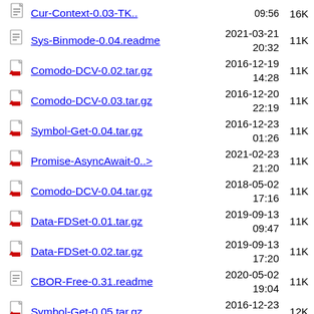Cur-Context-0.03-TK.. 09:56 16K
Sys-Binmode-0.04.readme 2021-03-21 20:32 11K
Comodo-DCV-0.02.tar.gz 2016-12-19 14:28 11K
Comodo-DCV-0.03.tar.gz 2016-12-20 22:19 11K
Symbol-Get-0.04.tar.gz 2016-12-23 01:26 11K
Promise-AsyncAwait-0..> 2021-02-23 21:20 11K
Comodo-DCV-0.04.tar.gz 2018-05-02 17:16 11K
Data-FDSet-0.01.tar.gz 2019-09-13 09:47 11K
Data-FDSet-0.02.tar.gz 2019-09-13 17:20 11K
CBOR-Free-0.31.readme 2020-05-02 19:04 11K
Symbol-Get-0.05.tar.gz 2016-12-23 10:25 12K
IO-FDSaver-0.01.tar.gz 2021-03-23 22:19 12K